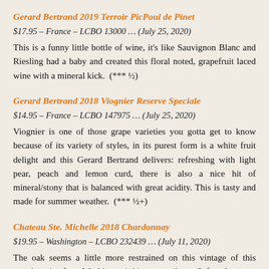Gerard Bertrand 2019 Terroir PicPoul de Pinet
$17.95 – France – LCBO 13000 … (July 25, 2020)
This is a funny little bottle of wine, it's like Sauvignon Blanc and Riesling had a baby and created this floral noted, grapefruit laced wine with a mineral kick.  (*** ½)
Gerard Bertrand 2018 Viognier Reserve Speciale
$14.95 – France – LCBO 147975 … (July 25, 2020)
Viognier is one of those grape varieties you gotta get to know because of its variety of styles, in its purest form is a white fruit delight and this Gerard Bertrand delivers: refreshing with light pear, peach and lemon curd, there is also a nice hit of mineral/stony that is balanced with great acidity. This is tasty and made for summer weather.  (*** ½+)
Chateau Ste. Michelle 2018 Chardonnay
$19.95 – Washington – LCBO 232439 … (July 11, 2020)
The oak seems a little more restrained on this vintage of this popular wine from Washington's biggest producer. Soft and